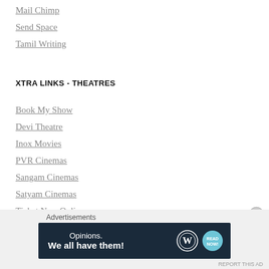Mail Chimp
Send Space
Tamil Writing
XTRA LINKS - THEATRES
Book My Show
Devi Theatre
Inox Movies
PVR Cinemas
Sangam Cinemas
Satyam Cinemas
Ticket New Online
[Figure (screenshot): Advertisement banner: 'Opinions. We all have them!' with WordPress and another logo on dark navy background]
REPORT THIS AD